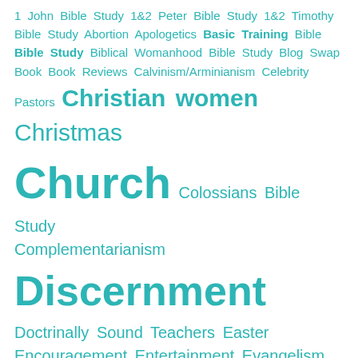1 John Bible Study 1&2 Peter Bible Study 1&2 Timothy Bible Study Abortion Apologetics Basic Training Bible Bible Study Biblical Womanhood Bible Study Blog Swap Book Book Reviews Calvinism/Arminianism Celebrity Pastors Christian women Christmas Church Colossians Bible Study Complementarianism Discernment Doctrinally Sound Teachers Easter Encouragement Entertainment Evangelism Ezekiel Bible Study Ezra Bible Study Faith False Doctrine False Teachers Favorite Finds Forgiveness